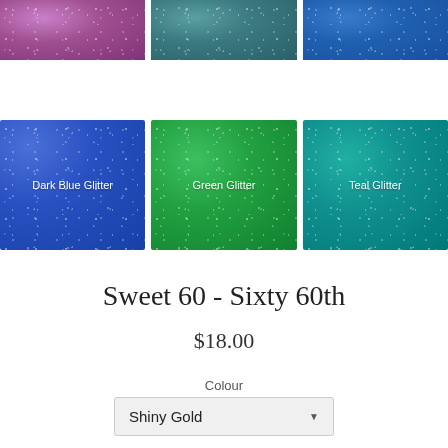[Figure (photo): Top row of three glitter color swatches partially visible: pink/purple glitter, dark teal glitter, medium blue glitter]
[Figure (photo): Second row of three full glitter color swatches with labels: Dark Blue Glitter (dark blue), Green Glitter (bright green), Teal Glitter (teal/green)]
Sweet 60 - Sixty 60th
$18.00
Colour
Shiny Gold